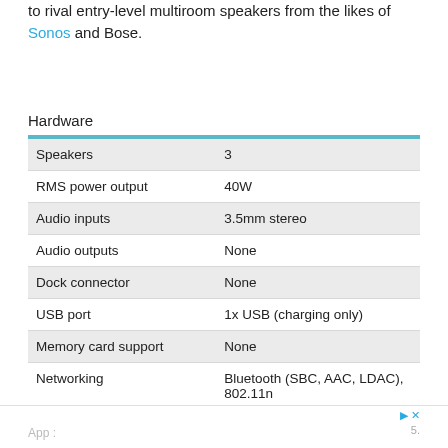to rival entry-level multiroom speakers from the likes of Sonos and Bose.
Hardware
|  |  |
| --- | --- |
| Speakers | 3 |
| RMS power output | 40W |
| Audio inputs | 3.5mm stereo |
| Audio outputs | None |
| Dock connector | None |
| USB port | 1x USB (charging only) |
| Memory card support | None |
| Networking | Bluetooth (SBC, AAC, LDAC), 802.11n |
| NFC | Yes |
App :